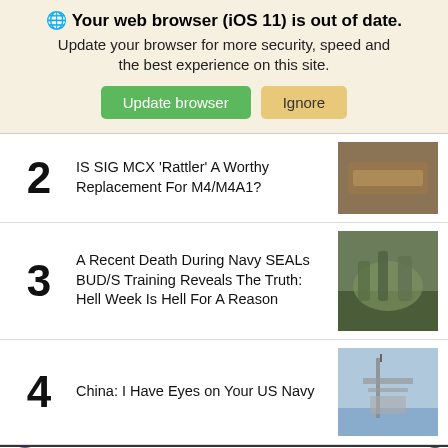🌐 Your web browser (iOS 11) is out of date. Update your browser for more security, speed and the best experience on this site.
Update browser | Ignore
2 Is SIG MCX 'Rattler' A Worthy Replacement For M4/M4A1?
3 A Recent Death During Navy SEALs BUD/S Training Reveals The Truth: Hell Week Is Hell For A Reason
4 China: I Have Eyes on Your US Navy
[Figure (screenshot): MAC cosmetics advertisement banner with lipstick products and 'SHOP NOW' box]